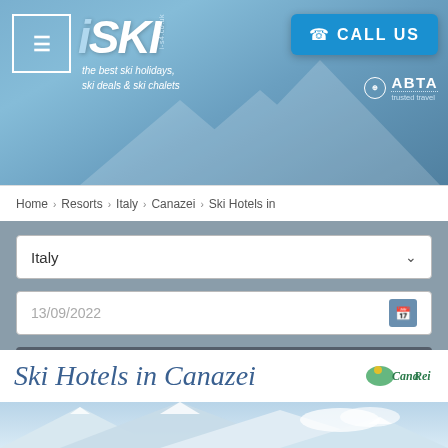iSKI - the best ski holidays, ski deals & ski chalets | CALL US | ABTA trusted travel
Home › Resorts › Italy › Canazei › Ski Hotels in
Italy (dropdown)
13/09/2022 (date field)
REFINE SEARCH
Refine results
Ski Hotels in Canazei